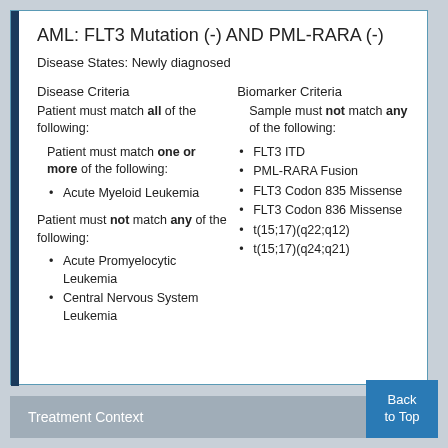AML: FLT3 Mutation (-) AND PML-RARA (-)
Disease States: Newly diagnosed
Disease Criteria
Patient must match all of the following:
Patient must match one or more of the following:
Acute Myeloid Leukemia
Patient must not match any of the following:
Acute Promyelocytic Leukemia
Central Nervous System Leukemia
Biomarker Criteria
Sample must not match any of the following:
FLT3 ITD
PML-RARA Fusion
FLT3 Codon 835 Missense
FLT3 Codon 836 Missense
t(15;17)(q22;q12)
t(15;17)(q24;q21)
Treatment Context
Back to Top